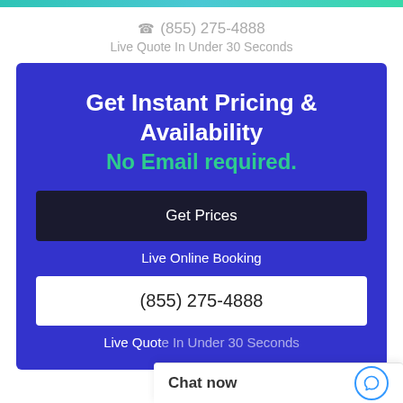(855) 275-4888
Live Quote In Under 30 Seconds
Get Instant Pricing & Availability
No Email required.
Get Prices
Live Online Booking
(855) 275-4888
Live Quot…
Chat now